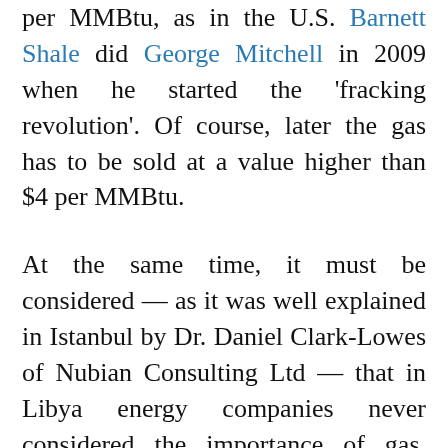per MMBtu, as in the U.S. Barnett Shale did George Mitchell in 2009 when he started the 'fracking revolution'. Of course, later the gas has to be sold at a value higher than $4 per MMBtu.
At the same time, it must be considered — as it was well explained in Istanbul by Dr. Daniel Clark-Lowes of Nubian Consulting Ltd — that in Libya energy companies never considered the importance of gas, which still today remains consistently both undeveloped and undiscovered (the F.P.S.A.